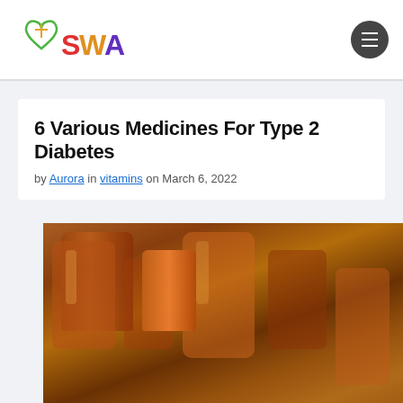SWA logo and navigation menu
6 Various Medicines For Type 2 Diabetes
by Aurora in vitamins on March 6, 2022
[Figure (photo): Close-up photo of amber/orange medicine bottles or pills, blurred background with warm tones]